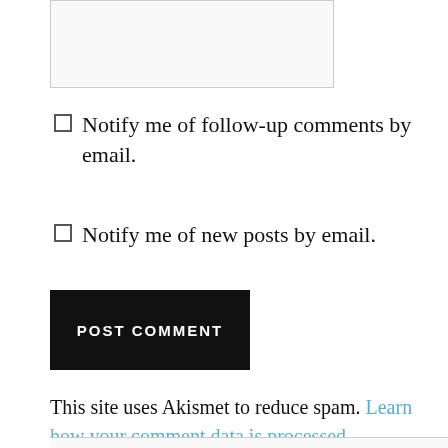[Figure (other): Textarea input box (comment field), partially visible at top of page]
Notify me of follow-up comments by email.
Notify me of new posts by email.
POST COMMENT (button)
This site uses Akismet to reduce spam. Learn how your comment data is processed.